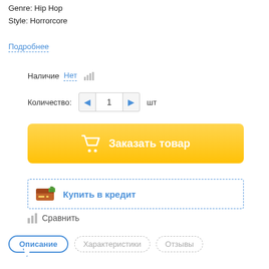Genre: Hip Hop
Style: Horrorcore
Подробнее
Наличие Нет
Количество: 1 шт
Заказать товар
Купить в кредит
Сравнить
Описание
Характеристики
Отзывы